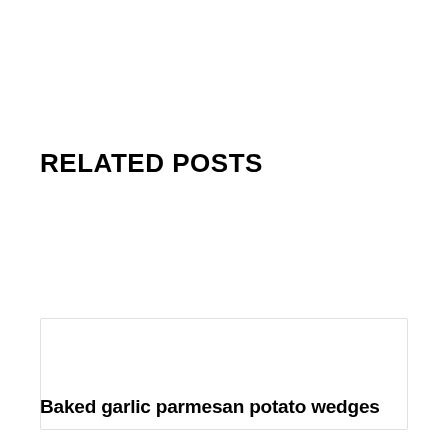RELATED POSTS
Baked garlic parmesan potato wedges